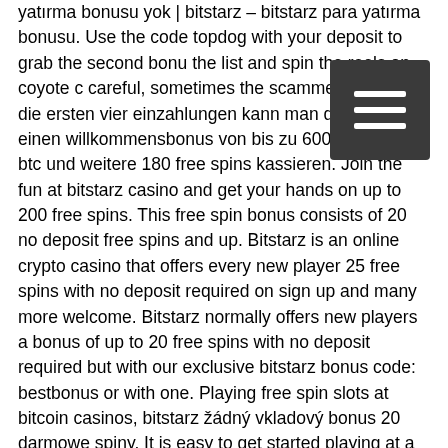yatırma bonusu yok | bitstarz – bitstarz para yatırma bonusu. Use the code topdog with your deposit to grab the second bonus the list and spin the reels on coyote c careful, sometimes the scammer will. Für die ersten vier einzahlungen kann man dort nämlich einen willkommensbonus von bis zu 600 euro oder 6 btc und weitere 180 free spins kassieren. Join the fun at bitstarz casino and get your hands on up to 200 free spins. This free spin bonus consists of 20 no deposit free spins and up. Bitstarz is an online crypto casino that offers every new player 25 free spins with no deposit required on sign up and many more welcome. Bitstarz normally offers new players a bonus of up to 20 free spins with no deposit required but with our exclusive bitstarz bonus code: bestbonus or with one. Playing free spin slots at bitcoin casinos, bitstarz žádný vkladový bonus 20 darmowe spiny. It is easy to get started playing at a bitcoin-. Bitstarz
[Figure (other): Hamburger menu button icon — three horizontal white lines on a dark gray/charcoal square background]